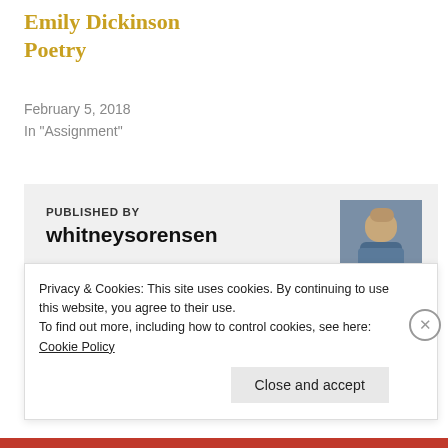Emily Dickinson Poetry
February 5, 2018
In "Assignment"
PUBLISHED BY
whitneysorensen
View all posts by whitneysorensen
Privacy & Cookies: This site uses cookies. By continuing to use this website, you agree to their use.
To find out more, including how to control cookies, see here: Cookie Policy
Close and accept